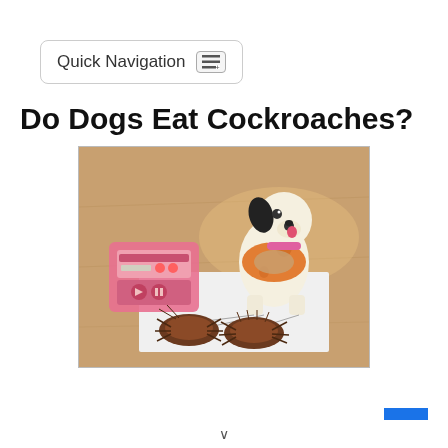Quick Navigation
Do Dogs Eat Cockroaches?
[Figure (photo): A toy dalmatian dog figurine holding an orange ring, positioned behind two dead cockroaches lying on a white piece of paper, with a small pink toy radio on the left, all placed on a wooden floor surface.]